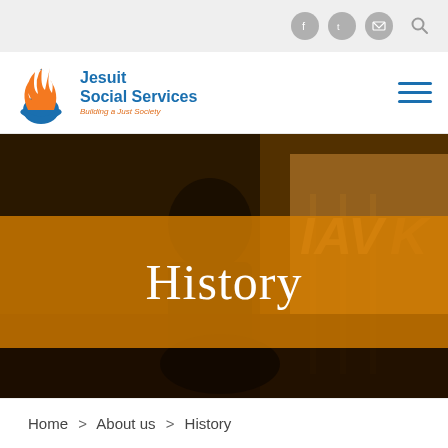Top navigation bar with social icons (Facebook, Twitter, Email) and search
[Figure (logo): Jesuit Social Services logo with phoenix/flame symbol in blue and orange, text: Jesuit Social Services, Building a Just Society]
[Figure (photo): Hero image: silhouette of person in front of window/screen with orange overlay and 'History' title text]
History
Home > About us > History